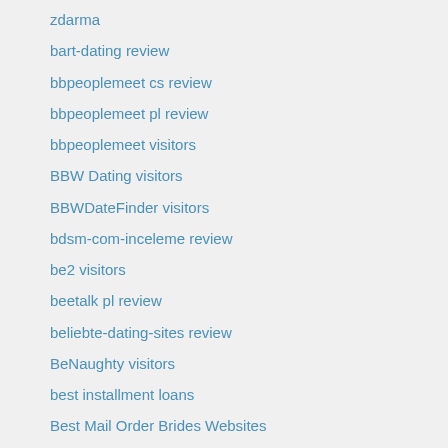zdarma
bart-dating review
bbpeoplemeet cs review
bbpeoplemeet pl review
bbpeoplemeet visitors
BBW Dating visitors
BBWDateFinder visitors
bdsm-com-inceleme review
be2 visitors
beetalk pl review
beliebte-dating-sites review
BeNaughty visitors
best installment loans
Best Mail Order Brides Websites
best payday loans online